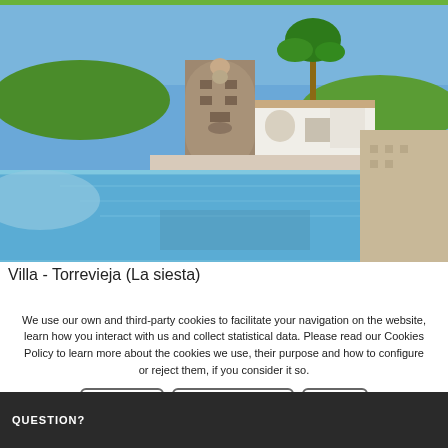[Figure (photo): Exterior photo of a villa in Torrevieja (La siesta) featuring a swimming pool in the foreground, a stone tower structure, white building, palm trees, and clear blue sky.]
Villa - Torrevieja (La siesta)
We use our own and third-party cookies to facilitate your navigation on the website, learn how you interact with us and collect statistical data. Please read our Cookies Policy to learn more about the cookies we use, their purpose and how to configure or reject them, if you consider it so.
Accept all | Manage Cookies | Reject